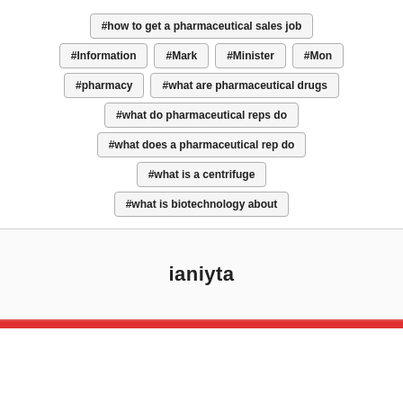#how to get a pharmaceutical sales job
#Information
#Mark
#Minister
#Mon
#pharmacy
#what are pharmaceutical drugs
#what do pharmaceutical reps do
#what does a pharmaceutical rep do
#what is a centrifuge
#what is biotechnology about
ianiyta